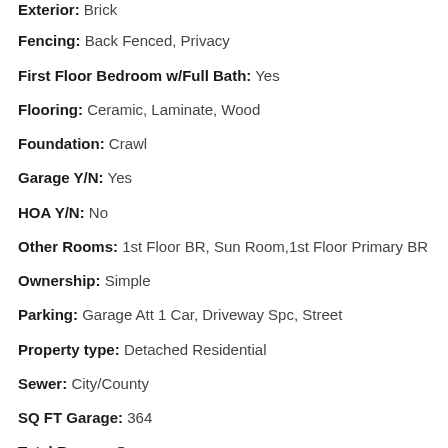Exterior: Brick
Fencing: Back Fenced, Privacy
First Floor Bedroom w/Full Bath: Yes
Flooring: Ceramic, Laminate, Wood
Foundation: Crawl
Garage Y/N: Yes
HOA Y/N: No
Other Rooms: 1st Floor BR, Sun Room,1st Floor Primary BR
Ownership: Simple
Parking: Garage Att 1 Car, Driveway Spc, Street
Property type: Detached Residential
Sewer: City/County
SQ FT Garage: 364
Total Rooms: 5